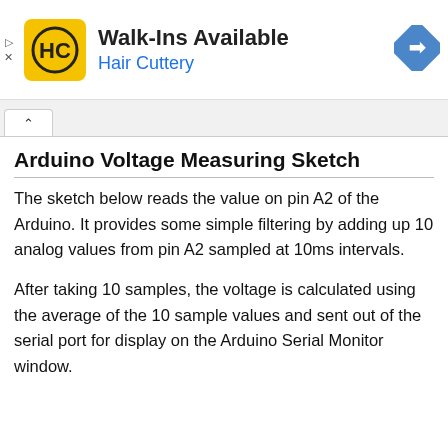[Figure (screenshot): Advertisement banner for Hair Cuttery showing logo, 'Walk-Ins Available' text, and navigation arrow icon with ad controls]
Arduino Voltage Measuring Sketch
The sketch below reads the value on pin A2 of the Arduino. It provides some simple filtering by adding up 10 analog values from pin A2 sampled at 10ms intervals.
After taking 10 samples, the voltage is calculated using the average of the 10 sample values and sent out of the serial port for display on the Arduino Serial Monitor window.